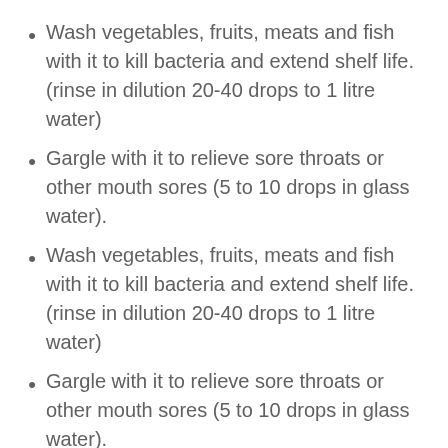Wash vegetables, fruits, meats and fish with it to kill bacteria and extend shelf life. (rinse in dilution 20-40 drops to 1 litre water)
Gargle with it to relieve sore throats or other mouth sores (5 to 10 drops in glass water).
Wash vegetables, fruits, meats and fish with it to kill bacteria and extend shelf life. (rinse in dilution 20-40 drops to 1 litre water)
Gargle with it to relieve sore throats or other mouth sores (5 to 10 drops in glass water).
Excellent treatment for acr[...]. (Add to cream)